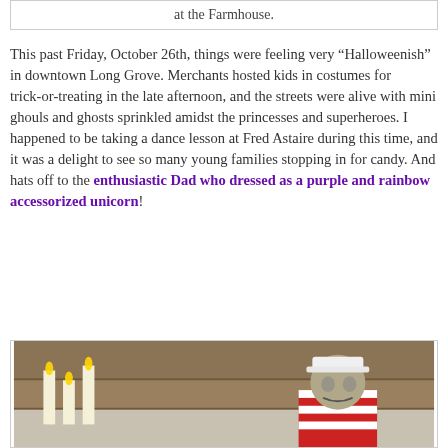at the Farmhouse.
This past Friday, October 26th, things were feeling very “Halloweenish” in downtown Long Grove. Merchants hosted kids in costumes for trick-or-treating in the late afternoon, and the streets were alive with mini ghouls and ghosts sprinkled amidst the princesses and superheroes. I happened to be taking a dance lesson at Fred Astaire during this time, and it was a delight to see so many young families stopping in for candy. And hats off to the enthusiastic Dad who dressed as a purple and rainbow accessorized unicorn!
[Figure (photo): A person wearing a zombie or monster mask and a white baseball cap, dressed in a red and white striped outfit, photographed indoors near wooden panels and candle decorations.]